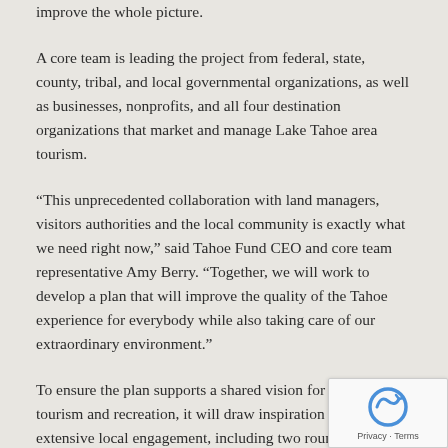improve the whole picture.
A core team is leading the project from federal, state, county, tribal, and local governmental organizations, as well as businesses, nonprofits, and all four destination organizations that market and manage Lake Tahoe area tourism.
“This unprecedented collaboration with land managers, visitors authorities and the local community is exactly what we need right now,” said Tahoe Fund CEO and core team representative Amy Berry. “Together, we will work to develop a plan that will improve the quality of the Tahoe experience for everybody while also taking care of our extraordinary environment.”
To ensure the plan supports a shared vision for future tourism and recreation, it will draw inspiration from extensive local engagement, including two rounds of